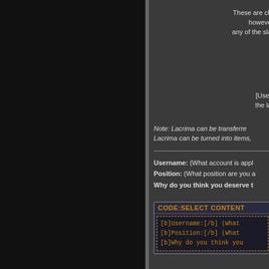These are ch however any of the sla
[User the la
Note: Lacrima can be transferred Lacrima can be turned into items,
Username: (What account is appl Position: (What position are you a Why do you think you deserve t
CODE:SELECT CONTENT
[b]Username:[/b] (What
[b]Position:[/b] (What
[b]Why do you think you